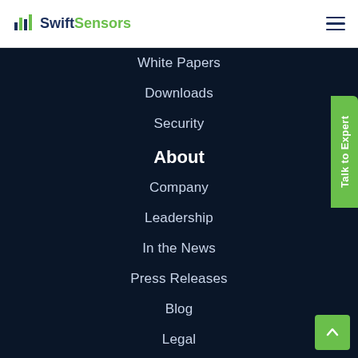Swift Sensors
White Papers
Downloads
Security
About
Company
Leadership
In the News
Press Releases
Blog
Legal
Newsletter Sign Up